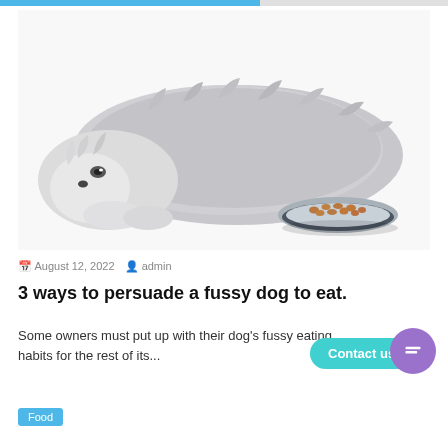[Figure (photo): A fluffy grey and white long-haired dog lying down next to a stainless steel bowl of kibble dog food on a white background.]
August 12, 2022   admin
3 ways to persuade a fussy dog to eat.
Some owners must put up with their dog's fussy eating habits for the rest of its...
Food